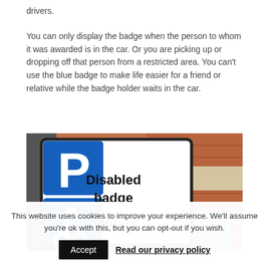drivers.
You can only display the badge when the person to whom it was awarded is in the car. Or you are picking up or dropping off that person from a restricted area. You can't use the blue badge to make life easier for a friend or relative while the badge holder waits in the car.
[Figure (photo): A parking sign showing 'Disabled badge holders' text with the blue P parking symbol and wheelchair accessibility symbol, set against a brick building background.]
This website uses cookies to improve your experience. We'll assume you're ok with this, but you can opt-out if you wish.
Accept   Read our privacy policy